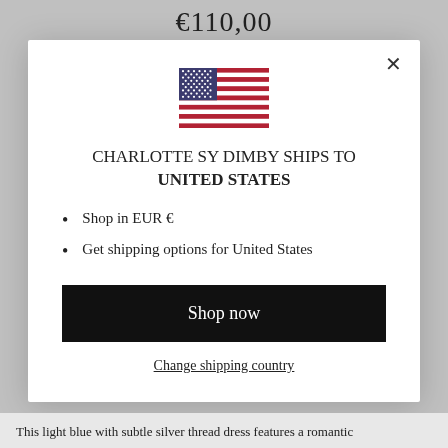€110,00
Shipping calculated at checkout
[Figure (illustration): US flag SVG illustration inside modal dialog]
CHARLOTTE SY DIMBY SHIPS TO
UNITED STATES
Shop in EUR €
Get shipping options for United States
Shop now
Change shipping country
This light blue with subtle silver thread dress features a romantic